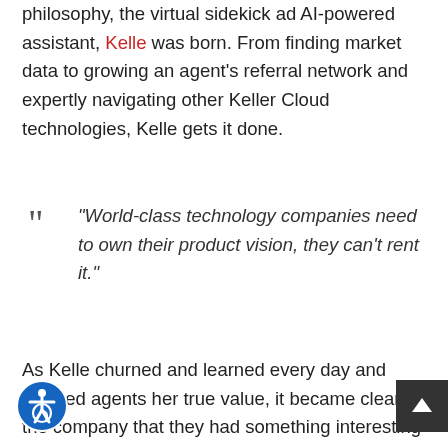philosophy, the virtual sidekick ad AI-powered assistant, Kelle was born. From finding market data to growing an agent's referral network and expertly navigating other Keller Cloud technologies, Kelle gets it done.
“World-class technology companies need to own their product vision, they can’t rent it.”
As Kelle churned and learned every day and showed agents her true value, it became clear to the company that they had something interesting to offer. The team turned a corner after entering and winning the NAR Hackathon for Kelle’s cutting edge ability to leverage AI and